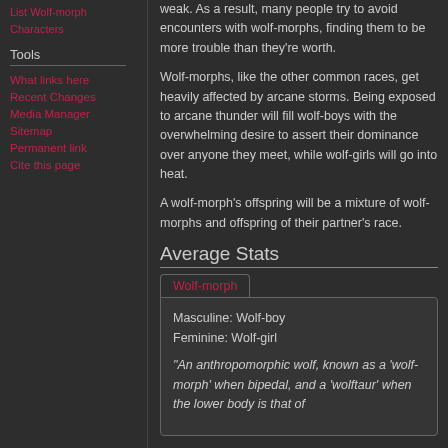List Wolf-morph Characters
Tools
What links here
Recent Changes
Media Manager
Sitemap
Permanent link
Cite this page
weak. As a result, many people try to avoid encounters with wolf-morphs, finding them to be more trouble than they're worth.
Wolf-morphs, like the other common races, get heavily affected by arcane storms. Being exposed to arcane thunder will fill wolf-boys with the overwhelming desire to assert their dominance over anyone they meet, while wolf-girls will go into heat.
A wolf-morph's offspring will be a mixture of wolf-morphs and offspring of their partner's race.
Average Stats
| Masculine: Wolf-boy |  |
| Feminine: Wolf-girl |  |
| "An anthropomorphic wolf, known as a 'wolf-morph' when bipedal, and a 'wolftaur' when the lower body is that of |  |